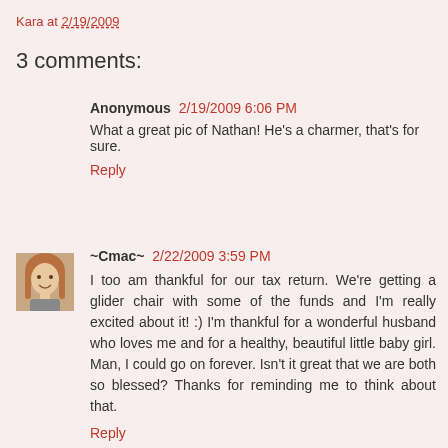Kara at 2/19/2009
3 comments:
Anonymous  2/19/2009 6:06 PM
What a great pic of Nathan! He's a charmer, that's for sure.
Reply
[Figure (photo): User avatar photo of a woman with long hair, smiling]
~Cmac~  2/22/2009 3:59 PM
I too am thankful for our tax return. We're getting a glider chair with some of the funds and I'm really excited about it! :) I'm thankful for a wonderful husband who loves me and for a healthy, beautiful little baby girl. Man, I could go on forever. Isn't it great that we are both so blessed? Thanks for reminding me to think about that.
Reply